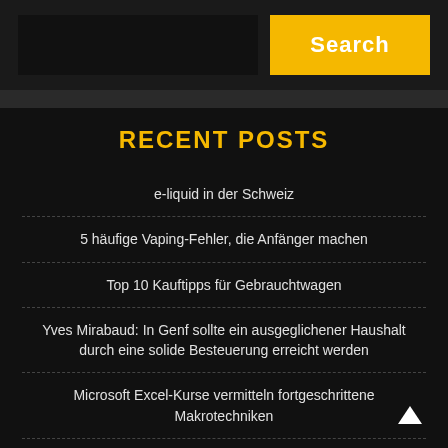[Figure (screenshot): Search bar input field (dark background)]
Search
RECENT POSTS
e-liquid in der Schweiz
5 häufige Vaping-Fehler, die Anfänger machen
Top 10 Kauftipps für Gebrauchtwagen
Yves Mirabaud: In Genf sollte ein ausgeglichener Haushalt durch eine solide Besteuerung erreicht werden
Microsoft Excel-Kurse vermitteln fortgeschrittene Makrotechniken